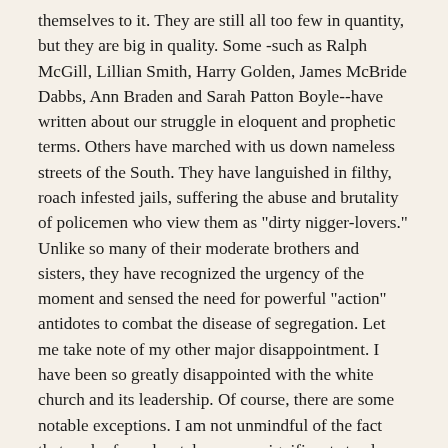themselves to it. They are still all too few in quantity, but they are big in quality. Some -such as Ralph McGill, Lillian Smith, Harry Golden, James McBride Dabbs, Ann Braden and Sarah Patton Boyle--have written about our struggle in eloquent and prophetic terms. Others have marched with us down nameless streets of the South. They have languished in filthy, roach infested jails, suffering the abuse and brutality of policemen who view them as "dirty nigger-lovers." Unlike so many of their moderate brothers and sisters, they have recognized the urgency of the moment and sensed the need for powerful "action" antidotes to combat the disease of segregation. Let me take note of my other major disappointment. I have been so greatly disappointed with the white church and its leadership. Of course, there are some notable exceptions. I am not unmindful of the fact that each of you has taken some significant stands on this issue. I commend you, Reverend Stallings, for your Christian stand on this past Sunday, in welcoming Negroes to your worship service on a nonsegregated basis. I commend the Catholic leaders of this state for integrating Spring